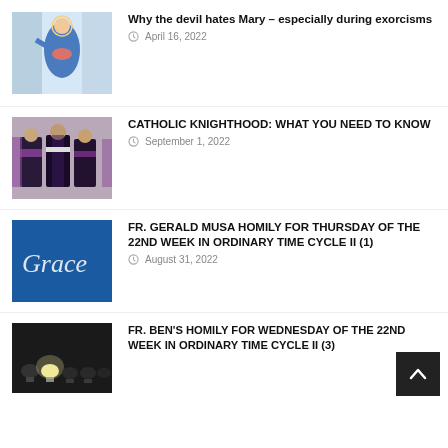[Figure (photo): Statue of Mary in blue and pink robes]
Why the devil hates Mary – especially during exorcisms
April 16, 2022
[Figure (photo): Men in dark robes with purple and white sashes, Catholic knights]
CATHOLIC KNIGHTHOOD: WHAT YOU NEED TO KNOW
September 1, 2022
[Figure (photo): Blue background with cursive text reading Grace]
FR. GERALD MUSA HOMILY FOR THURSDAY OF THE 22ND WEEK IN ORDINARY TIME CYCLE II (1)
August 31, 2022
[Figure (photo): Light bulbs on dark background, one glowing]
FR. BEN'S HOMILY FOR WEDNESDAY OF THE 22ND WEEK IN ORDINARY TIME CYCLE II (3)